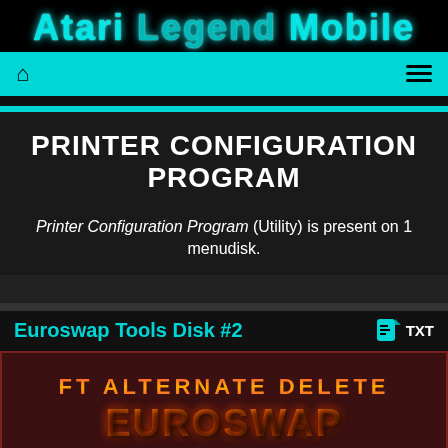Atari Legend Mobile
[Figure (screenshot): Navigation bar with home icon and hamburger menu on teal background]
PRINTER CONFIGURATION PROGRAM
Printer Configuration Program (Utility) is present on 1 menudisk.
Euroswap Tools Disk #2  TXT
[Figure (logo): FT ALTERNATE DELETE EUROSWAP logo with stylized orange flame text on dark red background]